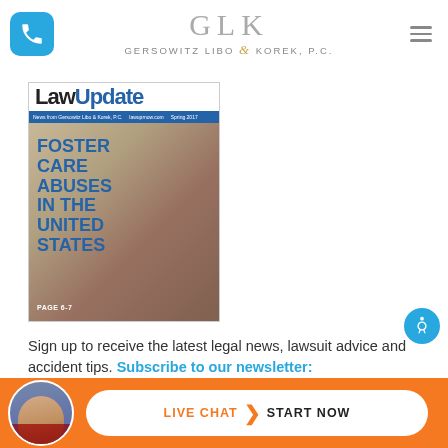[Figure (logo): Gersowitz Libo & Korek, P.C. law firm logo with GLK monogram and phone icon]
[Figure (photo): Law Update magazine cover featuring 'Foster Care Abuses in the United States' with a sepia image of a child's face]
Sign up to receive the latest legal news, lawsuit advice and accident tips. Subscribe to our newsletter:
[Figure (other): Live Chat / Start Now button bar with attorney photo, orange background]